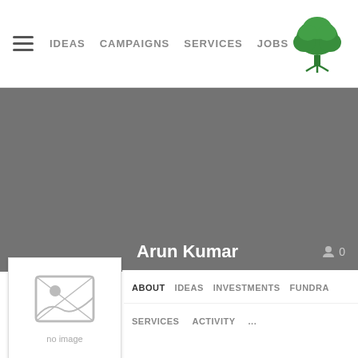IDEAS   CAMPAIGNS   SERVICES   JOBS
[Figure (screenshot): Gray cover photo banner area]
Arun Kumar
[Figure (photo): Profile avatar placeholder showing no image icon with text 'no image']
ABOUT   IDEAS   INVESTMENTS   FUNDRA
SERVICES   ACTIVITY   ...